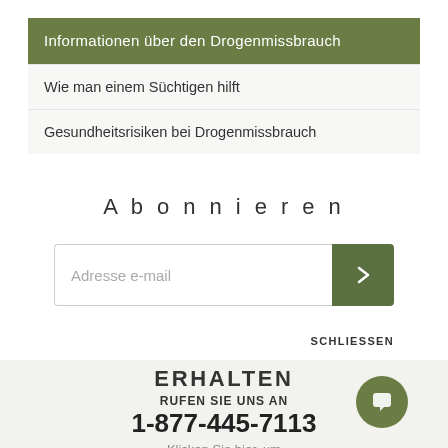Informationen über den Drogenmissbrauch
Wie man einem Süchtigen hilft
Gesundheitsrisiken bei Drogenmissbrauch
Abonnieren
Adresse e-mail
SCHLIESSEN
ERHALTEN
RUFEN SIE UNS AN
1-877-445-7113
Klicken Sie hier, um das nächstgelegene Narconon-Zentrum zu finden